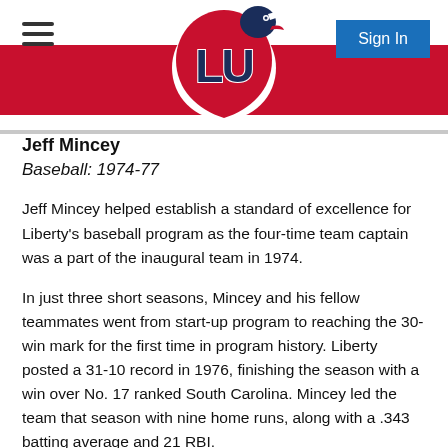[Figure (logo): Liberty University LU eagle logo with red and navy colors, above a red banner bar with hamburger menu on left and Sign In button on right]
Jeff Mincey
Baseball: 1974-77
Jeff Mincey helped establish a standard of excellence for Liberty's baseball program as the four-time team captain was a part of the inaugural team in 1974.
In just three short seasons, Mincey and his fellow teammates went from start-up program to reaching the 30-win mark for the first time in program history. Liberty posted a 31-10 record in 1976, finishing the season with a win over No. 17 ranked South Carolina. Mincey led the team that season with nine home runs, along with a .343 batting average and 21 RBI.
Mincey was the second player in program history selected